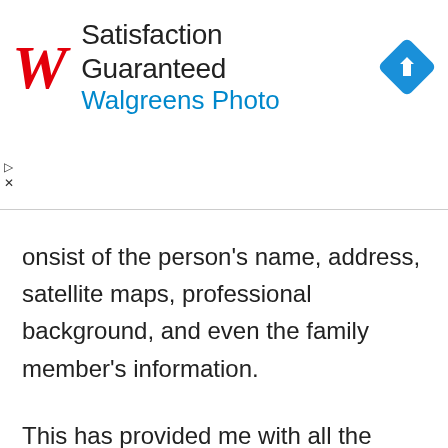[Figure (screenshot): Walgreens Photo advertisement banner with red italic W logo, text 'Satisfaction Guaranteed' and 'Walgreens Photo' in blue, and a blue diamond navigation icon on the right]
onsist of the person's name, address, satellite maps, professional background, and even the family member's information.
This has provided me with all the information that I was looking for. It not only saved my precious time but also the huge price involved with hiring a private detective.
Do I Need To Get Reverse Phone